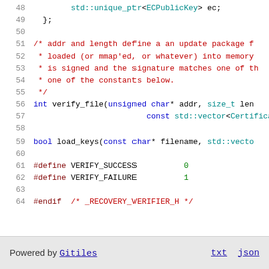[Figure (screenshot): Source code viewer showing lines 48-64 of a C++ header file with syntax highlighting. Line 48: std::unique_ptr<ECPublicKey> ec; Line 49: }; Lines 51-55: block comment about addr and length defining an update package. Line 56: int verify_file(unsigned char* addr, size_t len... Line 57: const std::vector<Certificate>&... Line 59: bool load_keys(const char* filename, std::vecto... Lines 61-62: #define VERIFY_SUCCESS 0 and #define VERIFY_FAILURE 1. Line 64: #endif /* _RECOVERY_VERIFIER_H */]
Powered by Gitiles    txt  json